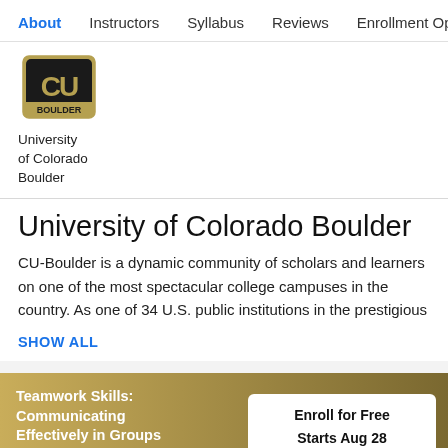About  Instructors  Syllabus  Reviews  Enrollment Opt
[Figure (logo): University of Colorado Boulder logo — gold and black CU shield emblem]
University
of Colorado
Boulder
University of Colorado Boulder
CU-Boulder is a dynamic community of scholars and learners on one of the most spectacular college campuses in the country. As one of 34 U.S. public institutions in the prestigious
SHOW ALL
Teamwork Skills: Communicating Effectively in Groups
University of Colorado Boulder
Enroll for Free
Starts Aug 28